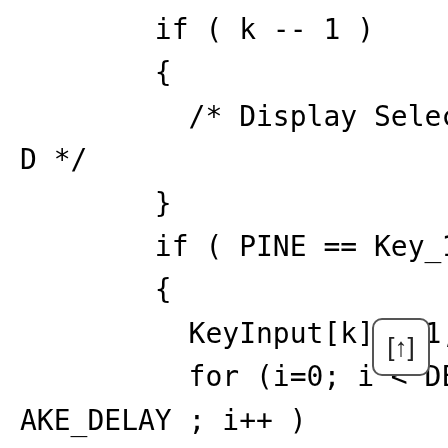if ( k -- 1 )
        {
          /* Display Select mode on LCD */
        }
        if ( PINE == Key_1 )
        {
          KeyInput[k] = 1;
          for (i=0; i < DEBOUNCE_MAKE_DELAY ; i++ )